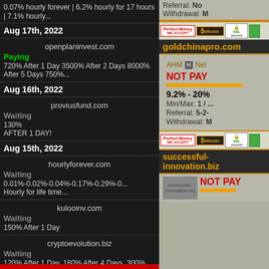0.07% hourly forever | 6.2% hourly for 17 hours | 7.1% hourly...
Aug 17th, 2022
openplaninvest.com
Paying
720% After 1 Day 3500% After 2 Days 8000% After 5 Days 750%...
Aug 16th, 2022
proviusfund.com
Waiting
130%
AFTER 1 DAY!
Aug 15th, 2022
hourlyforever.com
Waiting
0.01%-0.02%-0.04%-0.17%-0.29%-0... Hourly for life time...
kulooinv.com
Waiting
150% After 1 Day
cryptoevolution.biz
Waiting
120% After 1 Day, 180% After 4 Days, 300% After 8 Days
Referral: No
Withdrawal: M
[Figure (screenshot): Payment badges: Perfect Money, Bitcoin, SSL Secured, green badge]
goldchinapro.com
NOT PAY
9.2% - 20%
Min/Max: 1 / ...
Referral: 5-2-...
Withdrawal: M
[Figure (screenshot): AHM H Net logo row]
[Figure (screenshot): Payment badges: Perfect Money, Bitcoin, SSL Secured, green badge]
successful-innovation.biz
NOT PAY
[Figure (screenshot): successful-innovation.biz logo placeholder]